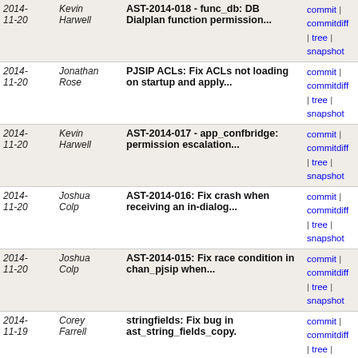| Date | Author | Message | Links |
| --- | --- | --- | --- |
| 2014-11-20 | Kevin Harwell | AST-2014-018 - func_db: DB Dialplan function permission... | commit | commitdiff | tree | snapshot |
| 2014-11-20 | Jonathan Rose | PJSIP ACLs: Fix ACLs not loading on startup and apply... | commit | commitdiff | tree | snapshot |
| 2014-11-20 | Kevin Harwell | AST-2014-017 - app_confbridge: permission escalation... | commit | commitdiff | tree | snapshot |
| 2014-11-20 | Joshua Colp | AST-2014-016: Fix crash when receiving an in-dialog... | commit | commitdiff | tree | snapshot |
| 2014-11-20 | Joshua Colp | AST-2014-015: Fix race condition in chan_pjsip when... | commit | commitdiff | tree | snapshot |
| 2014-11-19 | Corey Farrell | stringfields: Fix bug in ast_string_fields_copy. | commit | commitdiff | tree | snapshot |
| 2014-11-19 | Richard Mudgett | ast_str: Fix improper member access to struct ast_str... | commit | commitdiff | tree | snapshot |
| 2014-11-19 | Joshua Colp | res_pjsip_sdp_rtp: Add support for optimistic SRTP. | commit | commitdiff | tree | snapshot |
| 2014-11-19 | Joshua Colp | alembic: Fix alembic migration for 'moh_passthrough... | commit | commitdiff | tree | snapshot |
| 2014-11-19 | Joshua Colp | res_pjsip_refer: Ensure Refer-To is NULL terminated... | commit | commitdiff | tree | snapshot |